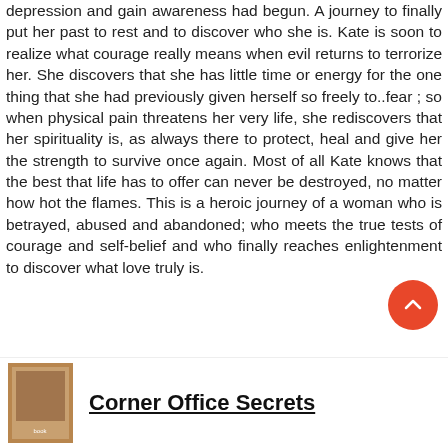depression and gain awareness had begun. A journey to finally put her past to rest and to discover who she is. Kate is soon to realize what courage really means when evil returns to terrorize her. She discovers that she has little time or energy for the one thing that she had previously given herself so freely to..fear ; so when physical pain threatens her very life, she rediscovers that her spirituality is, as always there to protect, heal and give her the strength to survive once again. Most of all Kate knows that the best that life has to offer can never be destroyed, no matter how hot the flames. This is a heroic journey of a woman who is betrayed, abused and abandoned; who meets the true tests of courage and self-belief and who finally reaches enlightenment to discover what love truly is.
Corner Office Secrets